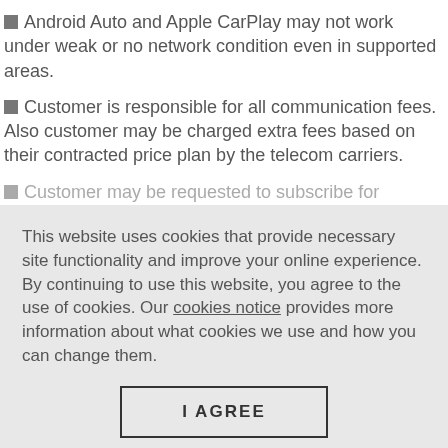Android Auto and Apple CarPlay may not work under weak or no network condition even in supported areas.
Customer is responsible for all communication fees. Also customer may be charged extra fees based on their contracted price plan by the telecom carriers.
Customer may be requested to subscribe for roaming
This website uses cookies that provide necessary site functionality and improve your online experience. By continuing to use this website, you agree to the use of cookies. Our cookies notice provides more information about what cookies we use and how you can change them.
I AGREE